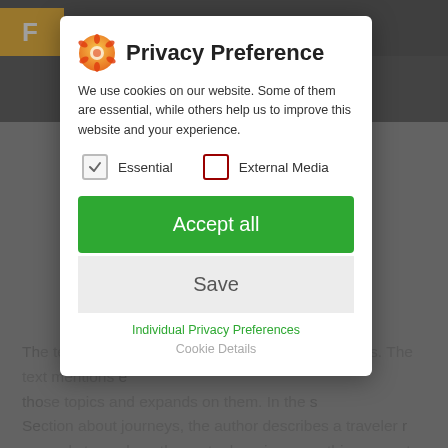[Figure (screenshot): Privacy Preference modal dialog overlaying a website. The modal has a cookie icon, title 'Privacy Preference', descriptive text about cookies, checkboxes for 'Essential' (checked) and 'External Media' (unchecked), an 'Accept all' green button, a 'Save' gray button, and links for 'Individual Privacy Preferences' and 'Cookie Details'. Behind the modal, dimmed website text is partially visible.]
Privacy Preference
We use cookies on our website. Some of them are essential, while others help us to improve this website and your experience.
Essential
External Media
Accept all
Save
Individual Privacy Preferences
Cookie Details